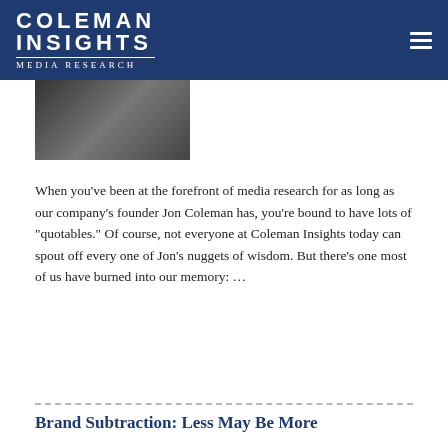COLEMAN INSIGHTS Media Research
[Figure (photo): Thumbnail photo of a person, partially visible]
When you've been at the forefront of media research for as long as our company's founder Jon Coleman has, you're bound to have lots of "quotables." Of course, not everyone at Coleman Insights today can spout off every one of Jon's nuggets of wisdom. But there's one most of us have burned into our memory: ...
Read more »
Brand Subtraction: Less May Be More